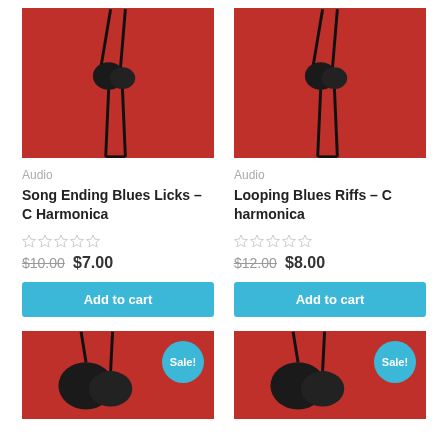[Figure (photo): Black earbuds on red background - Song Ending Blues Licks product image]
Audio
Song Ending Blues Licks – C Harmonica
[Figure (other): 5 empty star rating icons]
$10.00 $7.00
Add to cart
[Figure (photo): Black earbuds on red background - Looping Blues Riffs product image]
Audio
Looping Blues Riffs – C harmonica
[Figure (other): 5 empty star rating icons]
$12.00 $8.00
Add to cart
[Figure (photo): Black earbud on red background - Sale item 1]
Sale!
[Figure (photo): Black earbud on red background - Sale item 2]
Sale!